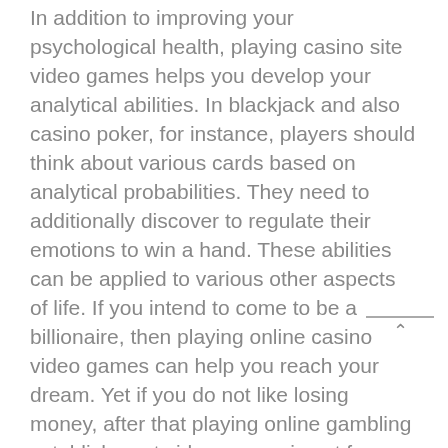In addition to improving your psychological health, playing casino site video games helps you develop your analytical abilities. In blackjack and also casino poker, for instance, players should think about various cards based on analytical probabilities. They need to additionally discover to regulate their emotions to win a hand. These abilities can be applied to various other aspects of life. If you intend to come to be a billionaire, then playing online casino video games can help you reach your dream. Yet if you do not like losing money, after that playing online gambling establishment video games is not for you. As soon as you master playing on-line casino site video games, you can always try different kinds of games. If you enjoy playing slot machines, you can pick one that has an interesting motif or an eye-catching style. You can likewise select slots based on the RTP (return-to-player) rate. On the internet ports are amongst the easiest video games to play. There are no special abilities called for. If you are not a great wager, you can pick an easy video game and practice your skills. Last but not least, remember that the most vital part of